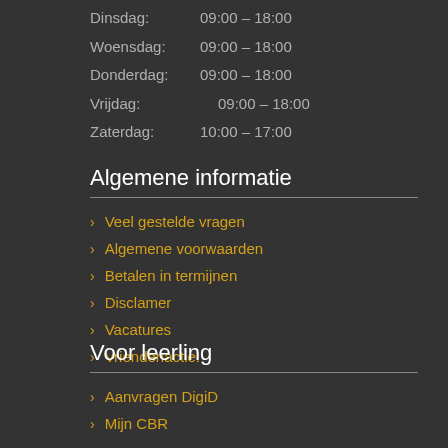Dinsdag:    09:00 – 18:00
Woensdag:  09:00 – 18:00
Donderdag: 09:00 – 18:00
Vrijdag:        09:00 – 18:00
Zaterdag:    10:00 – 17:00
Algemene informatie
Veel gestelde vragen
Algemene voorwaarden
Betalen in termijnen
Disclamer
Vacatures
Vriendenactie!
Voor leerling
Aanvragen DigiD
Mijn CBR